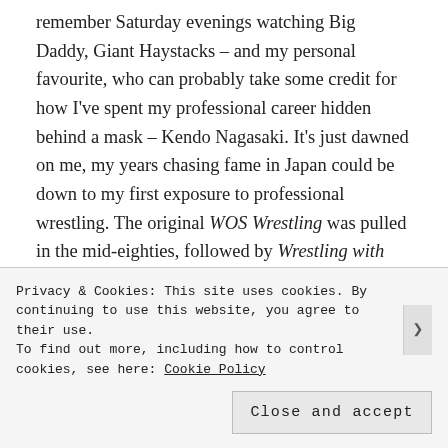remember Saturday evenings watching Big Daddy, Giant Haystacks – and my personal favourite, who can probably take some credit for how I've spent my professional career hidden behind a mask – Kendo Nagasaki. It's just dawned on me, my years chasing fame in Japan could be down to my first exposure to professional wrestling. The original WOS Wrestling was pulled in the mid-eighties, followed by Wrestling with Kent Walton. The question is: does the TV schedule have room for it today?
There was room for it back in 1988 when wrestling left our screens. Hindsight is 20/20 but producers
Privacy & Cookies: This site uses cookies. By continuing to use this website, you agree to their use.
To find out more, including how to control cookies, see here: Cookie Policy
Close and accept